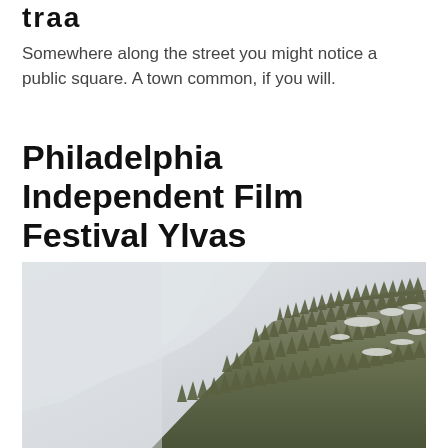traa
Somewhere along the street you might notice a public square. A town common, if you will.
Philadelphia Independent Film Festival Ylvas fundileringar
[Figure (photo): A misty mountain hillside covered with conifer trees partially obscured by low clouds or fog, with patches of snow visible among the trees.]